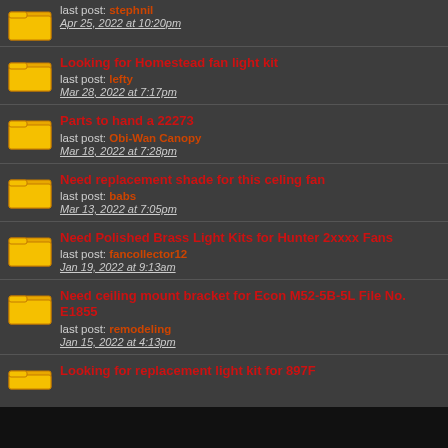last post: stephnil
Apr 25, 2022 at 10:20pm
Looking for Homestead fan light kit
last post: lefty
Mar 28, 2022 at 7:17pm
Parts to hand a 22273
last post: Obi-Wan Canopy
Mar 18, 2022 at 7:28pm
Need replacement shade for this celing fan
last post: babs
Mar 13, 2022 at 7:05pm
Need Polished Brass Light Kits for Hunter 2xxxx Fans
last post: fancollector12
Jan 19, 2022 at 9:13am
Need ceiling mount bracket for Econ M52-5B-5L File No. E1855
last post: remodeling
Jan 15, 2022 at 4:13pm
Looking for replacement light kit for 897F